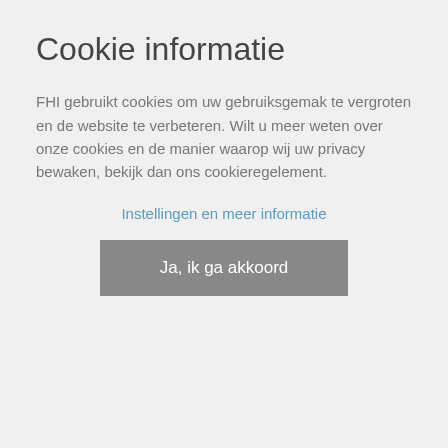Cookie informatie
FHI gebruikt cookies om uw gebruiksgemak te vergroten en de website te verbeteren. Wilt u meer weten over onze cookies en de manier waarop wij uw privacy bewaken, bekijk dan ons cookieregelement.
Instellingen en meer informatie
Ja, ik ga akkoord
Flexible Cable), the...
Lees meer
Nieuws
WAGO Cloud: universele IoT-oplossing voor machines, installaties en gebouwen
Met WAGO Cloud kunt u de gegevens van verschillende machines vanaf een centrale locatie verzamelen en analyseren. Hierdoor